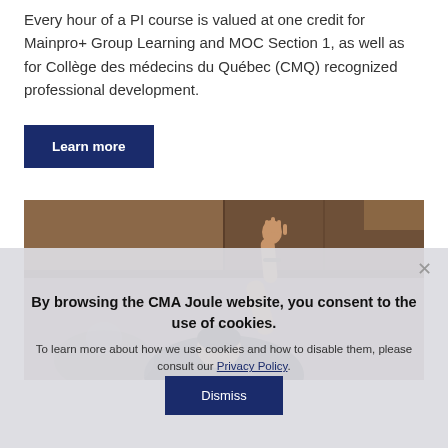Every hour of a PI course is valued at one credit for Mainpro+ Group Learning and MOC Section 1, as well as for Collège des médecins du Québec (CMQ) recognized professional development.
Learn more
[Figure (photo): Photo of a person raising their hand in a classroom or meeting setting, with wooden furniture visible in the background.]
By browsing the CMA Joule website, you consent to the use of cookies.
To learn more about how we use cookies and how to disable them, please consult our Privacy Policy.
Dismiss